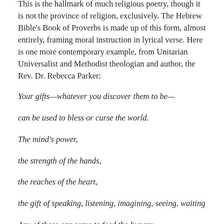This is the hallmark of much religious poetry, though it is not the province of religion, exclusively. The Hebrew Bible's Book of Proverbs is made up of this form, almost entirely, framing moral instruction in lyrical verse. Here is one more contemporary example, from Unitarian Universalist and Methodist theologian and author, the Rev. Dr. Rebecca Parker:
Your gifts—whatever you discover them to be—
can be used to bless or curse the world.
The mind's power,
the strength of the hands,
the reaches of the heart,
the gift of speaking, listening, imagining, seeing, waiting
Any of these can serve to feed the hungry,
bind up wounds,